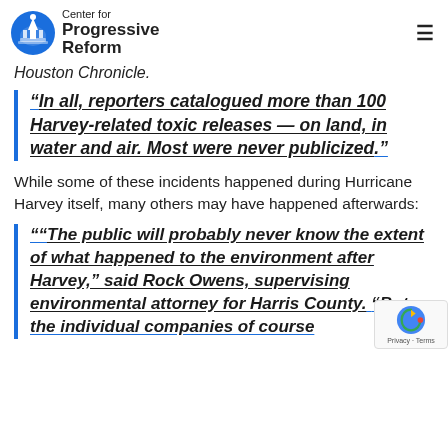Center for Progressive Reform
Houston Chronicle.
“In all, reporters catalogued more than 100 Harvey-related toxic releases — on land, in water and air. Most were never publicized.”
While some of these incidents happened during Hurricane Harvey itself, many others may have happened afterwards:
““The public will probably never know the extent of what happened to the environment after Harvey,” said Rock Owens, supervising environmental attorney for Harris County. “But the individual companies of course